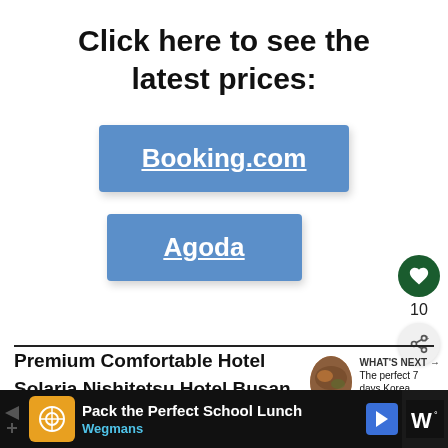Click here to see the latest prices:
Booking.com
Agoda
10
Premium Comfortable Hotel
Solaria Nishitetsu Hotel Busan
WHAT'S NEXT → The perfect 7 days Korea...
Pack the Perfect School Lunch Wegmans